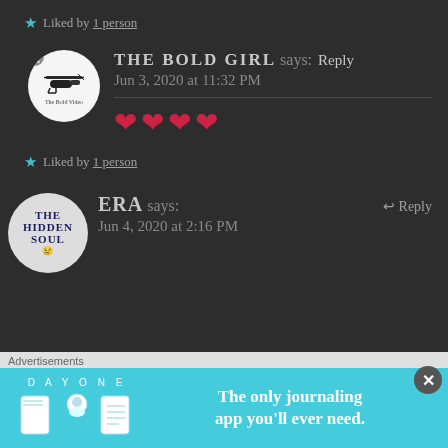★ Liked by 1 person
THE BOLD GIRL says: Reply
Jun 3, 2020 at 11:32 PM
❤❤❤❤
★ Liked by 1 person
ERA says: Reply
Jun 4, 2020 at 2:16 PM
[Figure (screenshot): Advertisement banner: DAY ONE - The only journaling app you'll ever need.]